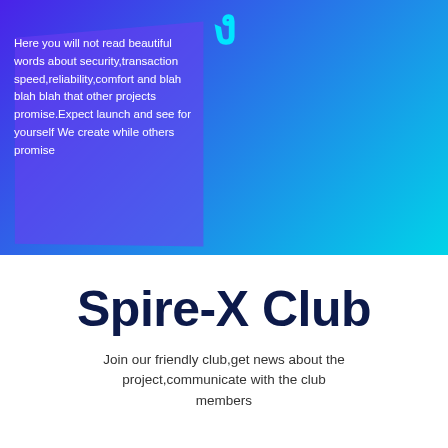[Figure (infographic): Blue-to-cyan gradient background top section with a large cyan character partially visible at top center, and a semi-transparent purple parallelogram overlay on the left side]
Here you will not read beautiful words about security,transaction speed,reliability,comfort and blah blah blah that other projects promise.Expect launch and see for yourself We create while others promise
Spire-X Club
Join our friendly club,get news about the project,communicate with the club members